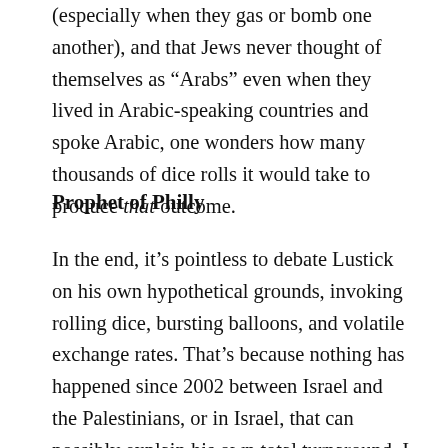(especially when they gas or bomb one another), and that Jews never thought of themselves as “Arabs” even when they lived in Arabic-speaking countries and spoke Arabic, one wonders how many thousands of dice rolls it would take to produce that outcome.
Prophet of Philly
In the end, it’s pointless to debate Lustick on his own hypothetical grounds, invoking rolling dice, bursting balloons, and volatile exchange rates. That’s because nothing has happened since 2002 between Israel and the Palestinians, or in Israel, that can possibly explain his own total turnaround. I suspect his Times article has nothing to do with the Israeli-Palestinian conflict, and everything to do with Lustick’s attempt to keep his